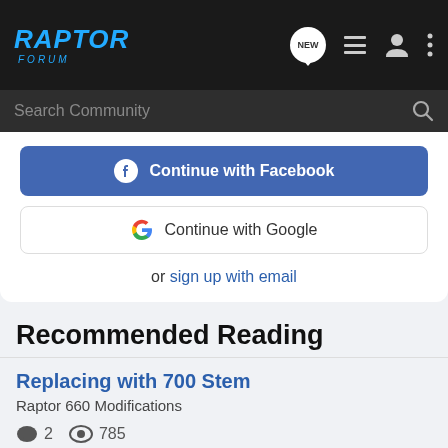[Figure (logo): Raptor Forum logo in blue italic text on dark background]
Search Community
Continue with Facebook
Continue with Google
or sign up with email
Recommended Reading
Replacing with 700 Stem
Raptor 660 Modifications
2  785
ShawnTRD · updated Jul 5, 2010